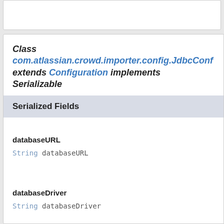Class com.atlassian.crowd.importer.config.JdbcConf extends Configuration implements Serializable
Serialized Fields
databaseURL
String databaseURL
databaseDriver
String databaseDriver
username